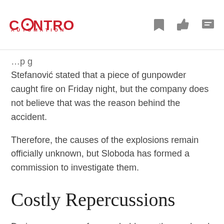CONTROL AUTOMATION
Stefanović stated that a piece of gunpowder caught fire on Friday night, but the company does not believe that was the reason behind the accident.
Therefore, the causes of the explosions remain officially unknown, but Sloboda has formed a commission to investigate them.
Costly Repercussions
During a press conference held over the weekend, Serbian President Aleksandar Vucic told reporters that early damages caused by the explosions and fires are estimated